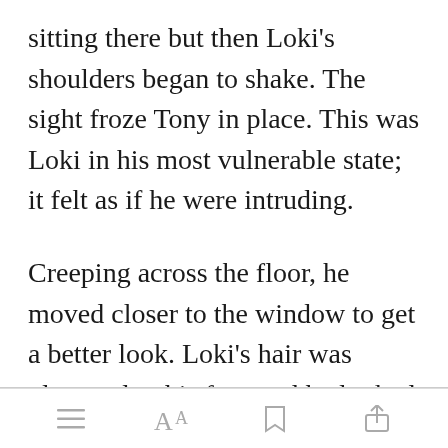sitting there but then Loki's shoulders began to shake. The sight froze Tony in place. This was Loki in his most vulnerable state; it felt as if he were intruding.
Creeping across the floor, he moved closer to the window to get a better look. Loki's hair was plastered to his face and he looked much like a dog left out in the [Open in app] y caught a
[toolbar icons: menu, text size, bookmark, share]